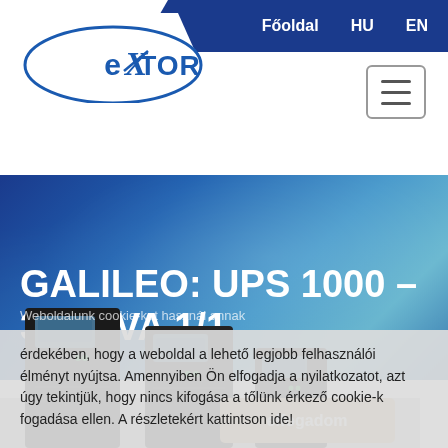[Figure (logo): Extor company logo — blue oval with 'eXTOR' stylized text]
Főoldal  HU  EN
GALILEO: UPS 1000 – 3000 VA 1/1
Weboldalunk cookie-kat használ annak érdekében, hogy a weboldal a lehető legjobb felhasználói élményt nyújtsa. Amennyiben Ön elfogadja a nyilatkozatot, azt úgy tekintjük, hogy nincs kifogása a tőlünk érkező cookie-k fogadása ellen. A részletekért kattintson ide!
[Figure (photo): UPS devices (black tower UPS units) — GALILEO 1000-3000 VA product photo]
elfogadom